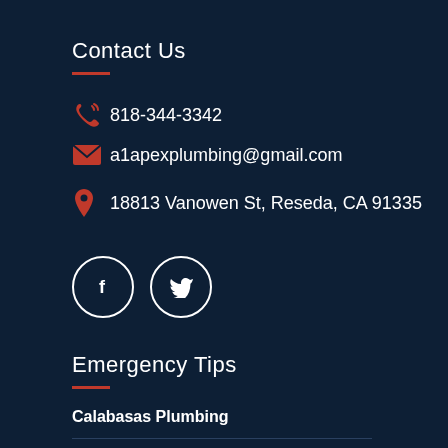Contact Us
818-344-3342
a1apexplumbing@gmail.com
18813 Vanowen St, Reseda, CA 91335
[Figure (other): Facebook and Twitter social media icon circles]
Emergency Tips
Calabasas Plumbing